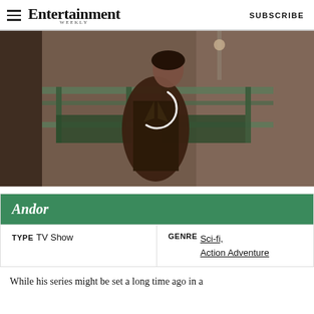Entertainment Weekly  SUBSCRIBE
[Figure (photo): A man in a brown leather coat looking over his shoulder in a cinematic sci-fi setting, with green-painted industrial benches in the background. A loading spinner icon is visible in the center of the image.]
Andor
| TYPE | GENRE |
| --- | --- |
| TV Show | Sci-fi, Action Adventure |
While his series might be set a long time ago in a